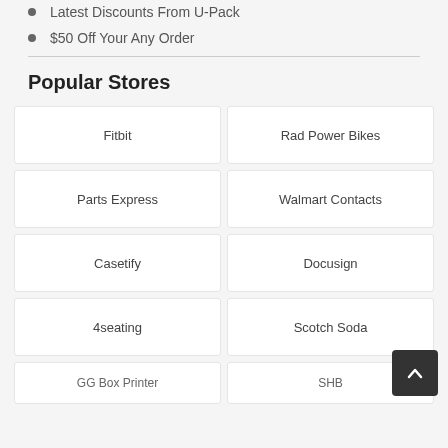Latest Discounts From U-Pack
$50 Off Your Any Order
Popular Stores
Fitbit
Rad Power Bikes
Parts Express
Walmart Contacts
Casetify
Docusign
4seating
Scotch Soda
GG...
SHB...